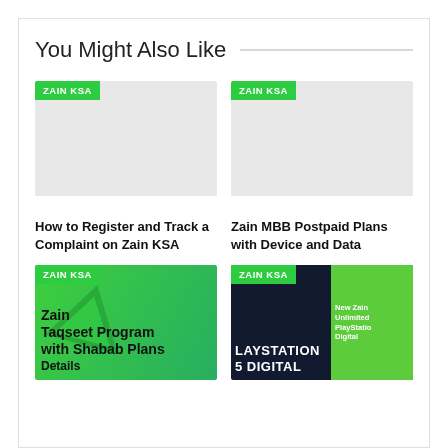You Might Also Like
[Figure (photo): Gray placeholder image with ZAIN KSA green tag]
[Figure (photo): Gray placeholder image with ZAIN KSA green tag]
How to Register and Track a Complaint on Zain KSA
Zain MBB Postpaid Plans with Device and Data
[Figure (photo): Zain Taqseet Program with Shabab Plans Details - green background with arrow graphic and bold text]
[Figure (photo): PlayStation 5 Digital - dark background with LAYSTATION 5 DIGITAL text and New Zain Unlimited PlayStation Digital text on green overlay]